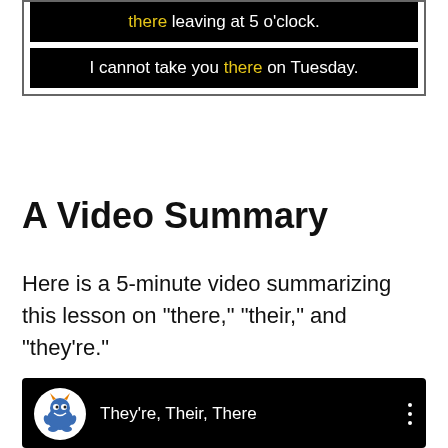[Figure (screenshot): Black box with white text: sentence using 'there' (highlighted yellow) leaving at 5 o'clock]
I cannot take you there on Tuesday.
A Video Summary
Here is a 5-minute video summarizing this lesson on "there," "their," and "they're."
[Figure (screenshot): YouTube-style embedded video player with monster mascot icon and title 'They're, Their, There']